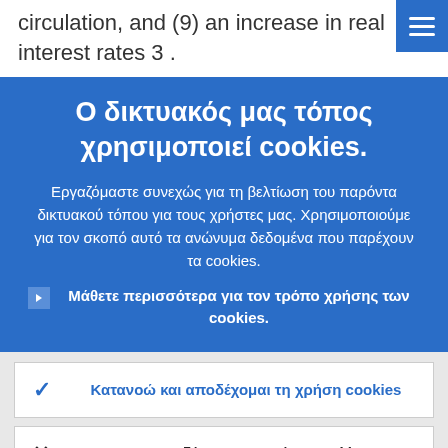circulation, and (9) an increase in real interest rates 3 .
Ο δικτυακός μας τόπος χρησιμοποιεί cookies.
Εργαζόμαστε συνεχώς για τη βελτίωση του παρόντα δικτυακού τόπου για τους χρήστες μας. Χρησιμοποιούμε για τον σκοπό αυτό τα ανώνυμα δεδομένα που παρέχουν τα cookies.
Μάθετε περισσότερα για τον τρόπο χρήσης των cookies.
Κατανοώ και αποδέχομαι τη χρήση cookies
Δεν αποδέχομαι τη χρήση cookies